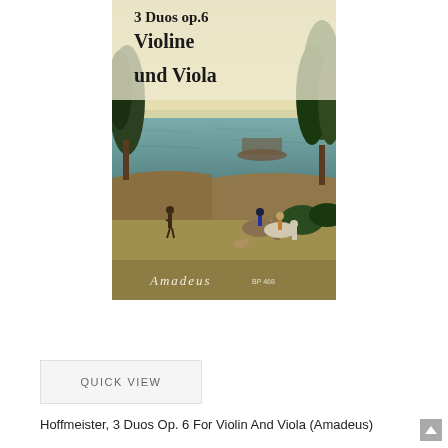[Figure (illustration): Book cover for 'Hoffmeister 3 Duos Op.6 Violine und Viola' (Amadeus). Cover features large serif text at top reading '3 Duos op.6 Violine und Viola' on a landscape painting background depicting a river scene with trees, boats, and horseback riders. Amadeus publisher logo at bottom.]
QUICK VIEW
Hoffmeister, 3 Duos Op. 6 For Violin And Viola (Amadeus)